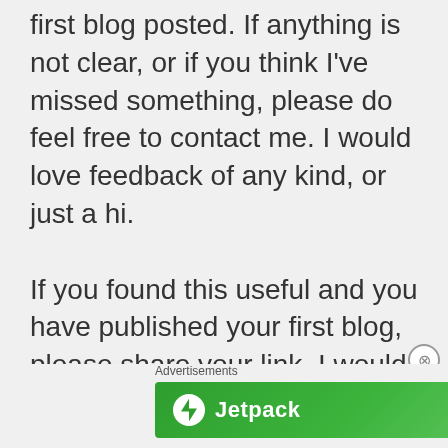first blog posted. If anything is not clear, or if you think I've missed something, please do feel free to contact me. I would love feedback of any kind, or just a hi.
If you found this useful and you have published your first blog, please share your link, I would love to see
[Figure (other): Jetpack advertisement banner with green background, Jetpack logo on the left, and a 'Back up your site' button on the right. Labeled 'Advertisements' above.]